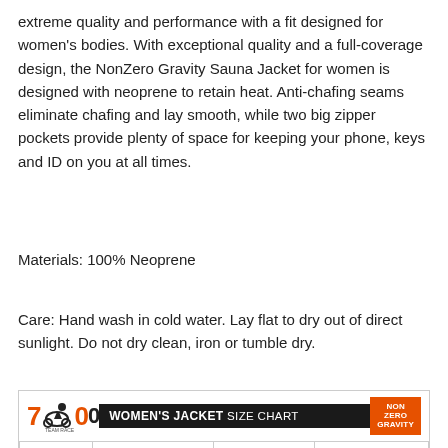extreme quality and performance with a fit designed for women's bodies. With exceptional quality and a full-coverage design, the NonZero Gravity Sauna Jacket for women is designed with neoprene to retain heat. Anti-chafing seams eliminate chafing and lay smooth, while two big zipper pockets provide plenty of space for keeping your phone, keys and ID on you at all times.
Materials: 100% Neoprene
Care: Hand wash in cold water. Lay flat to dry out of direct sunlight. Do not dry clean, iron or tumble dry.
[Figure (table-as-image): Women's Jacket Size Chart with logo from 700 and NonZero Gravity brand, showing columns: SIZE, WEIGHT (LBS), CHEST (INCH), SLEEVE (INCH), with row XS: 100-120, 31-34, 20.5]
| SIZE | WEIGHT (LBS) | CHEST (INCH) | SLEEVE (INCH) |
| --- | --- | --- | --- |
| XS | 100-120 | 31-34 | 20.5 |